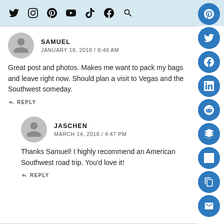Social media navigation bar with icons: Twitter, Instagram, Pinterest, YouTube, TikTok, Facebook, Search
SAMUEL
JANUARY 18, 2018 / 8:48 AM
Great post and photos. Makes me want to pack my bags and leave right now. Should plan a visit to Vegas and the Southwest someday.
REPLY
JASCHEN
MARCH 14, 2018 / 4:47 PM
Thanks Samuel! I highly recommend an American Southwest road trip. You'd love it!
REPLY